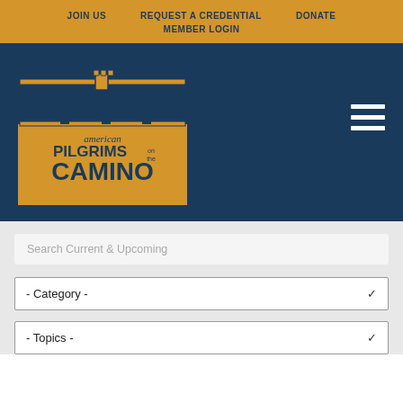JOIN US   REQUEST A CREDENTIAL   DONATE   MEMBER LOGIN
[Figure (logo): American Pilgrims on the Camino logo — stone bridge over golden background with text 'american PILGRIMS on the CAMINO']
Search Current & Upcoming
- Category -
- Topics -